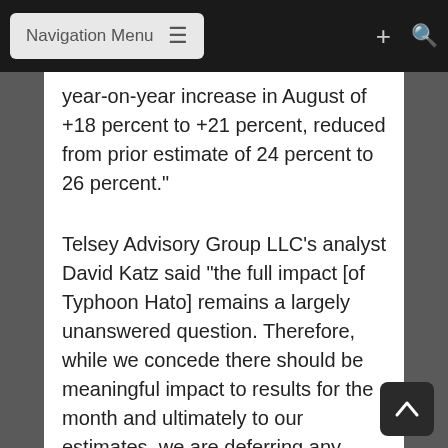Navigation Menu
year-on-year increase in August of +18 percent to +21 percent, reduced from prior estimate of 24 percent to 26 percent."
Telsey Advisory Group LLC's analyst David Katz said "the full impact [of Typhoon Hato] remains a largely unanswered question. Therefore, while we concede there should be meaningful impact to results for the month and ultimately to our estimates, we are deferring any change to our forecasts pending a clearer accounting in a number of important areas, including physical damage and customer access to the market."
The U.S.-based analyst added: "Among the most important issues in our view is the access to the market by consumers and whether the ferry or air access has been impacted by the storm. Whil...